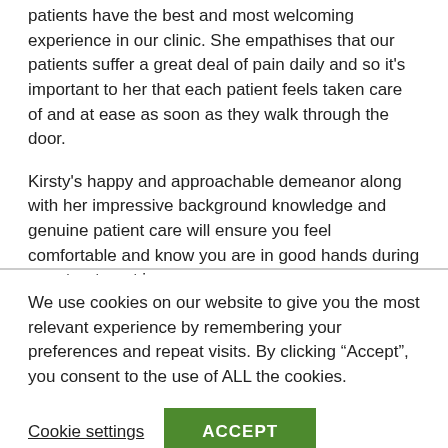patients have the best and most welcoming experience in our clinic. She empathises that our patients suffer a great deal of pain daily and so it's important to her that each patient feels taken care of and at ease as soon as they walk through the door.
Kirsty's happy and approachable demeanor along with her impressive background knowledge and genuine patient care will ensure you feel comfortable and know you are in good hands during your treatment journey.
In her spare time, Kirsty loves spending time with her husband and their two dogs, Cooper and Archie. Her little family love camping and the outdoors.
We use cookies on our website to give you the most relevant experience by remembering your preferences and repeat visits. By clicking “Accept”, you consent to the use of ALL the cookies.
Cookie settings
ACCEPT